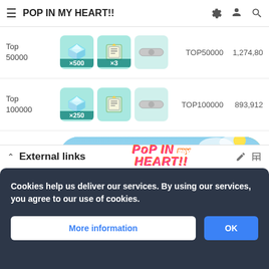POP IN MY HEART!!
| Rank | Rewards | Rank Label | Score |
| --- | --- | --- | --- |
| Top 50000 | ×500 gem, ×3 book, pill | TOP50000 | 1,274,80 |
| Top 100000 | ×250 gem, book, pill | TOP100000 | 893,912 |
[Figure (illustration): Event title banner with 'POP IN MY HEART!!' colorful logo on sky/nature background]
External links
Cookies help us deliver our services. By using our services, you agree to our use of cookies.
More information
OK